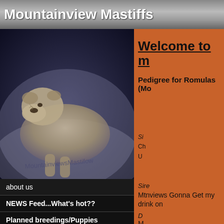Mountainview Mastiffs
[Figure (photo): Photo of a Mastiff dog, grey-blue toned, with watermark text 'Mountainview Mastiff']
Welcome to m
Pedigree for Romulas (Mo
Si
Ch
U
about us
NEWS Feed...What's hot??
Planned breedings/Puppies
application for puppy
Males/Stud dogs
The Girls
Retired
Sire
Mtnviews Gonna Get my drink on
D
M